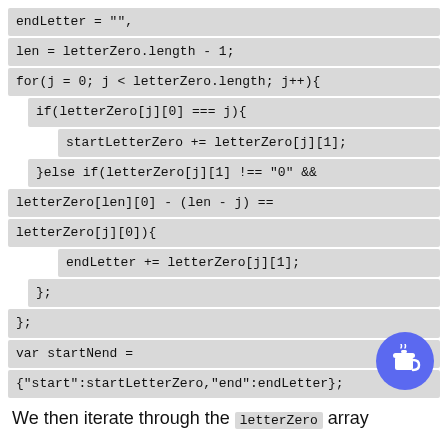endLetter = "",
len = letterZero.length - 1;
for(j = 0; j < letterZero.length; j++){
if(letterZero[j][0] === j){
startLetterZero += letterZero[j][1];
}else if(letterZero[j][1] !== "0" && letterZero[len][0] - (len - j) == letterZero[j][0]){
endLetter += letterZero[j][1];
};
};
var startNend =
{"start":startLetterZero,"end":endLetter};
We then iterate through the letterZero array